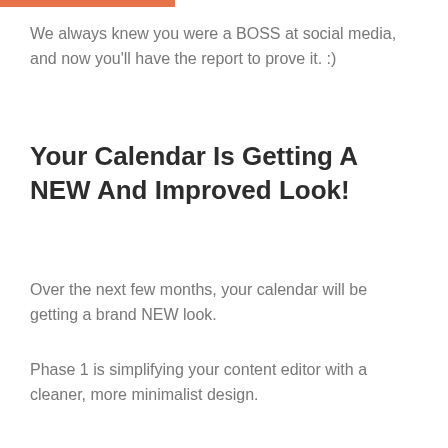We always knew you were a BOSS at social media, and now you'll have the report to prove it. :)
Your Calendar Is Getting A NEW And Improved Look!
Over the next few months, your calendar will be getting a brand NEW look.
Phase 1 is simplifying your content editor with a cleaner, more minimalist design.